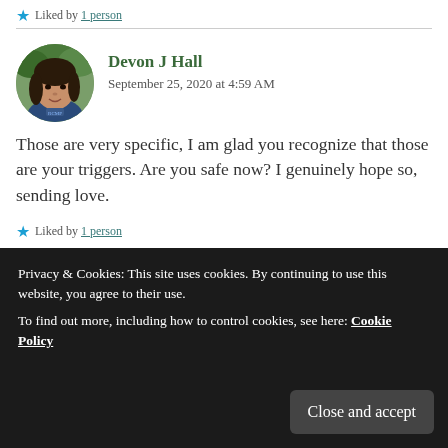★ Liked by 1 person
[Figure (photo): Circular avatar photo of Devon J Hall, a woman with dark hair outdoors]
Devon J Hall
September 25, 2020 at 4:59 AM
Those are very specific, I am glad you recognize that those are your triggers. Are you safe now? I genuinely hope so, sending love.
★ Liked by 1 person
Privacy & Cookies: This site uses cookies. By continuing to use this website, you agree to their use.
To find out more, including how to control cookies, see here: Cookie Policy
Close and accept